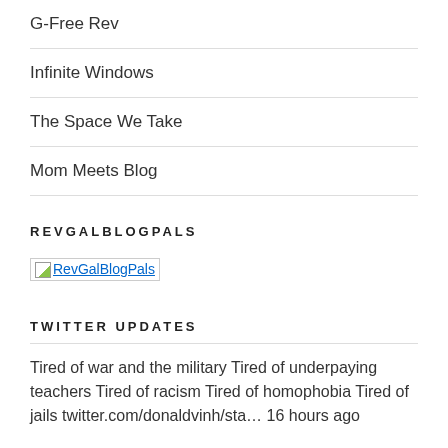G-Free Rev
Infinite Windows
The Space We Take
Mom Meets Blog
REVGALBLOGPALS
[Figure (other): RevGalBlogPals broken image link with text label]
TWITTER UPDATES
Tired of war and the military Tired of underpaying teachers Tired of racism Tired of homophobia Tired of jails twitter.com/donaldvinh/sta… 16 hours ago